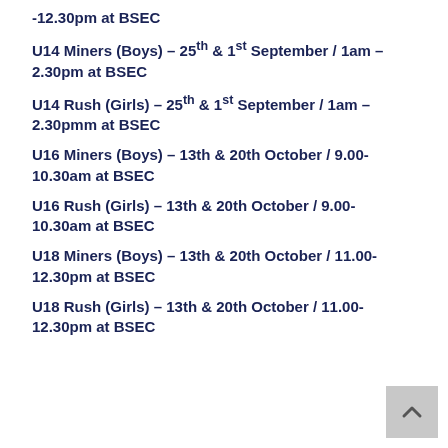-12.30pm at BSEC
U14 Miners (Boys) - 25th & 1st September / 1am - 2.30pm at BSEC
U14 Rush (Girls) - 25th & 1st September / 1am - 2.30pmm at BSEC
U16 Miners (Boys) - 13th & 20th October / 9.00-10.30am at BSEC
U16 Rush (Girls) - 13th & 20th October / 9.00-10.30am at BSEC
U18 Miners (Boys) - 13th & 20th October / 11.00-12.30pm at BSEC
U18 Rush (Girls) - 13th & 20th October / 11.00-12.30pm at BSEC